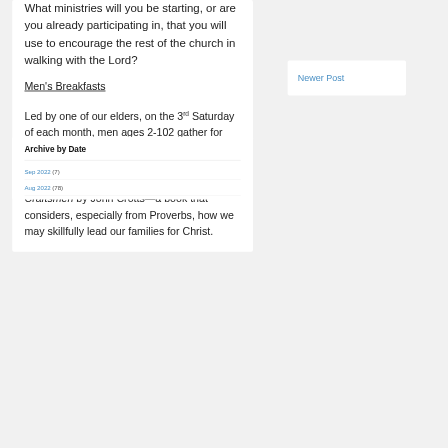What ministries will you be starting, or are you already participating in, that you will use to encourage the rest of the church in walking with the Lord?
Men's Breakfasts
Led by one of our elders, on the 3rd Saturday of each month, men ages 2-102 gather for breakfast at 6:30 a.m. and read and discuss some profoundly helpful Scripture or scriptural book. We're currently studying Craftsmen by John Crotts—a book that considers, especially from Proverbs, how we may skillfully lead our families for Christ.
Newer Post
Archive by Date
Sep 2022 (7)
Aug 2022 (78)